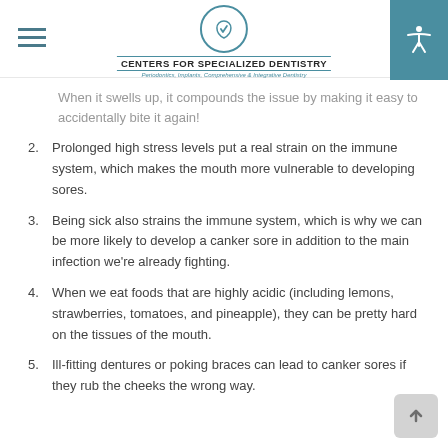CENTERS FOR SPECIALIZED DENTISTRY — Periodontics, Implants, Comprehensive & Integrative Dentistry
When it swells up, it compounds the issue by making it easy to accidentally bite it again!
2. Prolonged high stress levels put a real strain on the immune system, which makes the mouth more vulnerable to developing sores.
3. Being sick also strains the immune system, which is why we can be more likely to develop a canker sore in addition to the main infection we're already fighting.
4. When we eat foods that are highly acidic (including lemons, strawberries, tomatoes, and pineapple), they can be pretty hard on the tissues of the mouth.
5. Ill-fitting dentures or poking braces can lead to canker sores if they rub the cheeks the wrong way.